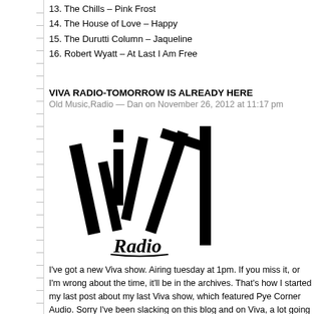13. The Chills – Pink Frost
14. The House of Love – Happy
15. The Durutti Column – Jaqueline
16. Robert Wyatt – At Last I Am Free
VIVA RADIO-TOMORROW IS ALREADY HERE
Old Music,Radio — Dan on November 26, 2012 at 11:17 pm
[Figure (logo): Viva Radio logo in black on white background, stylized angular lettering with cursive Radio text below]
I've got a new Viva show. Airing tuesday at 1pm. If you miss it, or I'm wrong about the time, it'll be in the archives. That's how I started my last post about my last Viva show, which featured Pye Corner Audio. Sorry I've been slacking on this blog and on Viva, a lot going on. I've got some ideas for some blog posts that I just haven't gotten around to. Some Acute records stuff. But for now, some sounds.
Tomorrow is Already Here
1. Pye Corner Audio – Sleep Games
2. Beak> – Said It All
3. Stereolab – Tomorrow is Already Here
4. Sam Willis – Weird Science